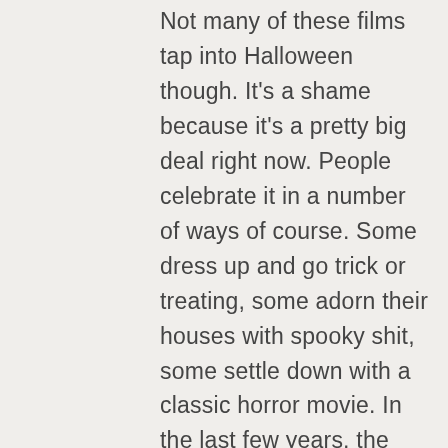Not many of these films tap into Halloween though. It's a shame because it's a pretty big deal right now. People celebrate it in a number of ways of course. Some dress up and go trick or treating, some adorn their houses with spooky shit, some settle down with a classic horror movie. In the last few years, the popularity of haunted house/village tours has grown and grown. You know the deal, you pay some money to walk around a building or estate at night time with some mates, knowing that something could be hiding in the dark or waiting to make you jump. Those things can be pretty unnerving for even some hardened horror fans. Now imagine one of these interactive haunted tours